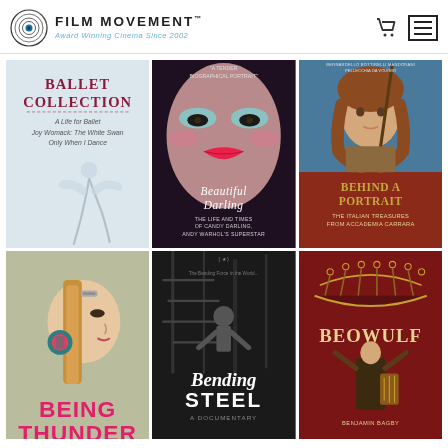Film Movement — Award Winning Cinema Since 2002
[Figure (photo): Ballet Collection movie poster — ballerina in white dress, text: BALLET COLLECTION, A Life for Ballet, Joy Womack: The White Swan, Only When I Dance]
[Figure (photo): Beautiful Darling movie poster — glamorous face with pink/teal makeup, text: Beautiful Darling, The Life and Times of Candy Darling, Andy Warhol's Superstar]
[Figure (photo): Behind a Portrait movie poster — Renaissance-style painting of a young woman, text: Behind a Portrait, The Italian Treasures from Accademia Carrara]
[Figure (photo): Being Thunder movie poster — young woman with braided hair and earring, text: BEING THUNDER (partially visible)]
[Figure (photo): Bending Steel documentary movie poster — dark industrial staircase with figure, text: Bending Steel, A Documentary]
[Figure (photo): Beowulf movie poster — dark red background with Viking ship design, performer on stage, text: BEOWULF, Benjamin Bagby]